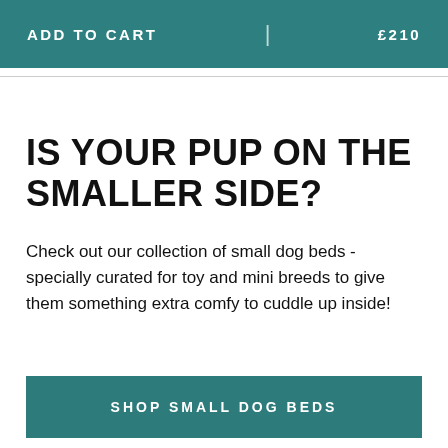ADD TO CART | £210
IS YOUR PUP ON THE SMALLER SIDE?
Check out our collection of small dog beds - specially curated for toy and mini breeds to give them something extra comfy to cuddle up inside!
SHOP SMALL DOG BEDS